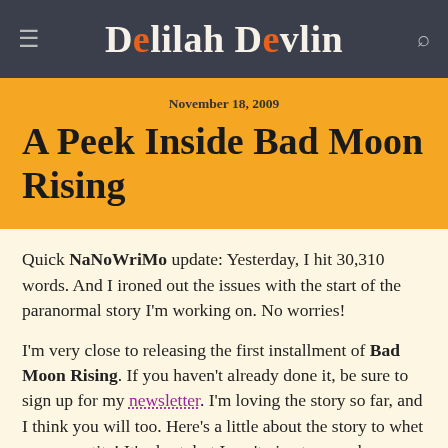Delilah Devlin
November 18, 2009
A Peek Inside Bad Moon Rising
Quick NaNoWriMo update: Yesterday, I hit 30,310 words. And I ironed out the issues with the start of the paranormal story I'm working on. No worries!
I'm very close to releasing the first installment of Bad Moon Rising. If you haven't already done it, be sure to sign up for my newsletter. I'm loving the story so far, and I think you will too. Here's a little about the story to whet your appetite! It's short, but I can't give too much away.